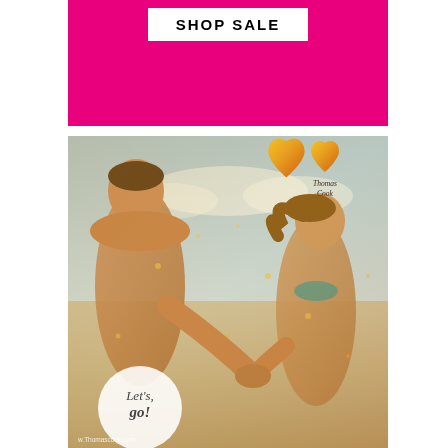SHOP SALE
[Figure (photo): Thomas Cook advertisement showing a couple holding hands on a beach. The man is on the left and the woman is on the right, both appearing to run. In the upper right is the Thomas Cook yellow heart logo with brand name. In the lower left a white circle contains the text 'Let's go!' in italic script. The bottom shows a website URL. The image has a golden sparkle overlay effect.]